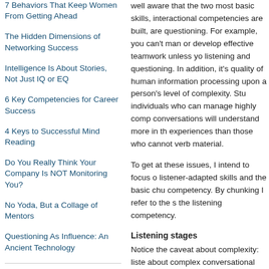7 Behaviors That Keep Women From Getting Ahead
The Hidden Dimensions of Networking Success
Intelligence Is About Stories, Not Just IQ or EQ
6 Key Competencies for Career Success
4 Keys to Successful Mind Reading
Do You Really Think Your Company Is NOT Monitoring You?
No Yoda, But a Collage of Mentors
Questioning As Influence: An Ancient Technology
ARCHIVES
well aware that the two most basic skills, interactional competencies are built, are questioning. For example, you can't man or develop effective teamwork unless yo listening and questioning. In addition, it's quality of human information processing upon a person's level of complexity. Stu individuals who can manage highly comp conversations will understand more in th experiences than those who cannot verb material.
To get at these issues, I intend to focus o listener-adapted skills and the basic chu competency. By chunking I refer to the s the listening competency.
Listening stages
Notice the caveat about complexity: liste about complex conversational abilities, n talking abilities. That's a very important q with an academically brilliant Stanford M length about any business subject, but sl engage team members in conversations